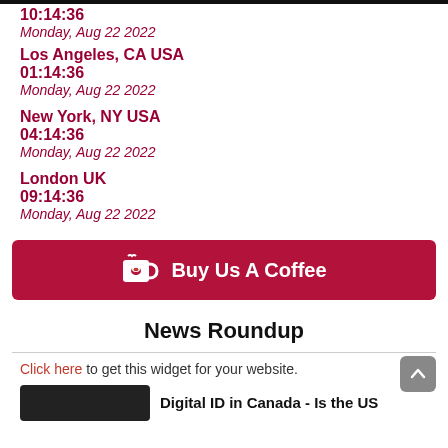10:14:36
Monday, Aug 22 2022
Los Angeles, CA USA
01:14:36
Monday, Aug 22 2022
New York, NY USA
04:14:36
Monday, Aug 22 2022
London UK
09:14:36
Monday, Aug 22 2022
[Figure (other): Buy Us A Coffee button with coffee cup icon]
News Roundup
Click here to get this widget for your website.
[Figure (screenshot): News article thumbnail with text: Digital ID in Canada - Is the US...]